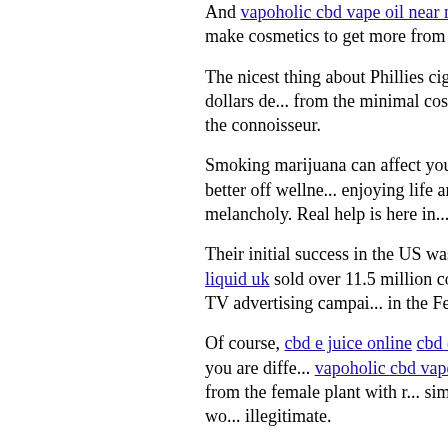And vapoholic cbd vape oil near me [v...] hemp, you can really make cosmetics to get more from each fast growing pl...
The nicest thing about Phillies cigars might save over a hundred dollars de... from the minimal cost of employment... will pass to the connoisseur.
Smoking marijuana can affect your in... smoking weed, much better off wellne... enjoying life and they all that is has o... don't melancholy. Real help is here in...
Their initial success in the US was in... released in 1996 and cbd e liquid uk [link] sold over 11.5 million copies worldwid... used involving TV advertising campai... in the Ferrari style logo on the album...
Of course, cbd e juice online cbd e lic... relation to marijuana, but you are diffe... vapoholic cbd vape oil online liquid ul... extracted from the female plant with r... simply light up hemp because you wo... illegitimate.
I would typically give you advice to ri... running barefoot has disappeared. Yo... actually becomes much.
Recently, there was a research publis...